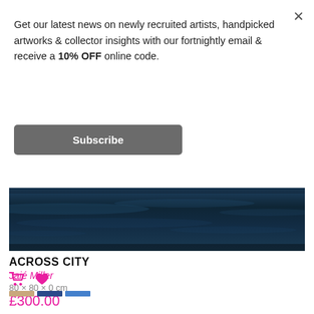Get our latest news on newly recruited artists, handpicked artworks & collector insights with our fortnightly email & receive a 10% OFF online code.
Subscribe
[Figure (photo): Dark blue ocean water surface photograph, used as artwork image for 'Across City']
ACROSS CITY
Jaié Miller
80 × 80 × 0 cm
£300.00